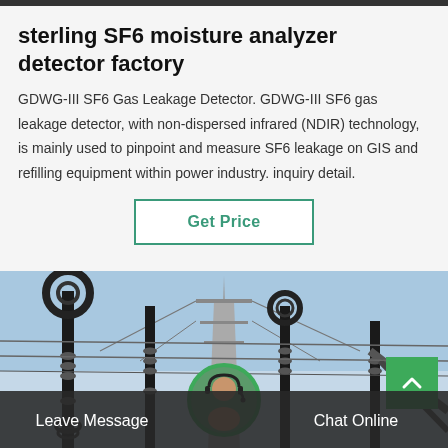sterling SF6 moisture analyzer detector factory
GDWG-III SF6 Gas Leakage Detector. GDWG-III SF6 gas leakage detector, with non-dispersed infrared (NDIR) technology, is mainly used to pinpoint and measure SF6 leakage on GIS and refilling equipment within power industry. inquiry detail.
Get Price
[Figure (photo): Power substation with high-voltage equipment, black cylindrical insulators, metal towers and transmission lines against a blue sky]
Leave Message
Chat Online